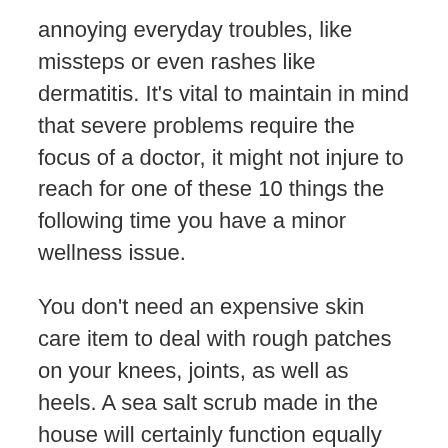annoying everyday troubles, like missteps or even rashes like dermatitis. It's vital to maintain in mind that severe problems require the focus of a doctor, it might not injure to reach for one of these 10 things the following time you have a minor wellness issue.
You don't need an expensive skin care item to deal with rough patches on your knees, joints, as well as heels. A sea salt scrub made in the house will certainly function equally as well. "Sea salt is an excellent exfoliator since it has thicker grains that do a good job of clearing away dry skin," Dr. Mariwalla